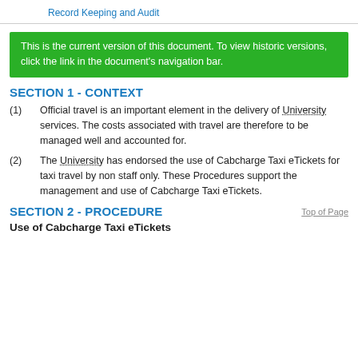Record Keeping and Audit
This is the current version of this document. To view historic versions, click the link in the document's navigation bar.
SECTION 1 - CONTEXT
(1)  Official travel is an important element in the delivery of University services. The costs associated with travel are therefore to be managed well and accounted for.
(2)  The University has endorsed the use of Cabcharge Taxi eTickets for taxi travel by non staff only. These Procedures support the management and use of Cabcharge Taxi eTickets.
SECTION 2 - PROCEDURE
Use of Cabcharge Taxi eTickets